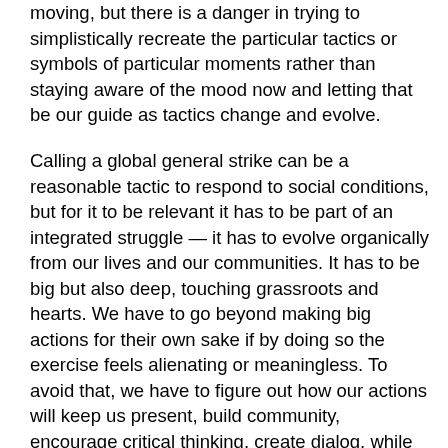moving, but there is a danger in trying to simplistically recreate the particular tactics or symbols of particular moments rather than staying aware of the mood now and letting that be our guide as tactics change and evolve.
Calling a global general strike can be a reasonable tactic to respond to social conditions, but for it to be relevant it has to be part of an integrated struggle — it has to evolve organically from our lives and our communities. It has to be big but also deep, touching grassroots and hearts. We have to go beyond making big actions for their own sake if by doing so the exercise feels alienating or meaningless. To avoid that, we have to figure out how our actions will keep us present, build community, encourage critical thinking, create dialog, while discrediting and de-legitimizing the system. How can we point out the a bsurdity of a system where a handful of people control everything because of a few numbers on a computer